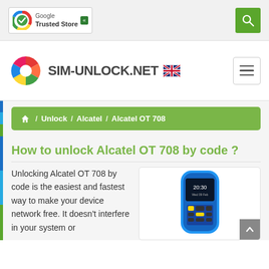[Figure (logo): Google Trusted Store badge with circular colorful checkmark icon]
[Figure (logo): Search icon button (magnifying glass) in green square]
[Figure (logo): SIM-UNLOCK.NET logo with colorful pinwheel icon and UK flag emoji]
[Figure (other): Hamburger menu button (three horizontal lines)]
🏠 / Unlock / Alcatel / Alcatel OT 708
How to unlock Alcatel OT 708 by code ?
Unlocking Alcatel OT 708 by code is the easiest and fastest way to make your device network free. It doesn't interfere in your system or
[Figure (photo): Photo of Alcatel OT 708 phone in blue casing showing screen with 20:30 time display]